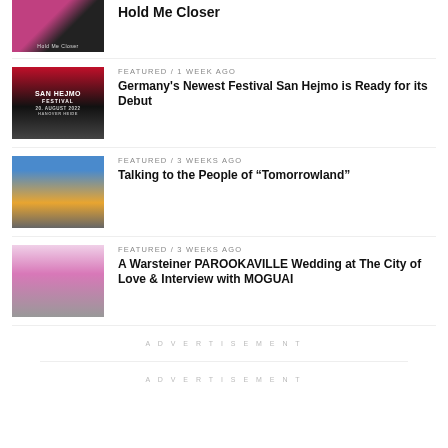[Figure (photo): Partial album cover image with pink and dark tones, bottom shows small text 'Hold Me Closer']
Hold Me Closer
FEATURED / 1 week ago
[Figure (photo): San Hejmo Festival poster with crowd, red and black tones, text: SAN HEJMO FESTIVAL 20. AUGUST 2022 HANOVER HEIDE]
Germany's Newest Festival San Hejmo is Ready for its Debut
FEATURED / 3 weeks ago
[Figure (photo): Aerial view of Tomorrowland festival with large crowd and stage structure at sunset]
Talking to the People of “Tomorrowland”
FEATURED / 3 weeks ago
[Figure (photo): Wedding photo at PAROOKAVILLE festival with people in pink and white costumes]
A Warsteiner PAROOKAVILLE Wedding at The City of Love & Interview with MOGUAI
ADVERTISEMENT
ADVERTISEMENT